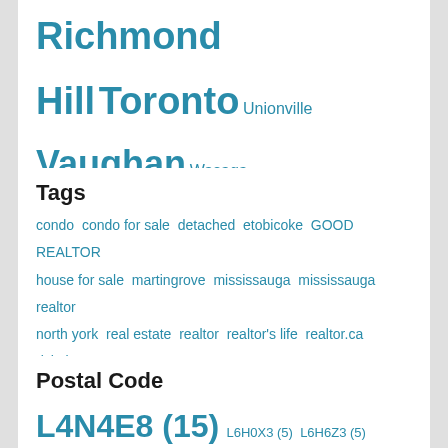Richmond Hill Toronto Unionville Vaughan Wasaga Beach Whitchurch-Stouffville
Tags
condo condo for sale detached etobicoke GOOD REALTOR house for sale martingrove mississauga mississauga realtor north york real estate realtor realtor's life realtor.ca richview sold successful people toronto
Postal Code
L4N4E8 (15) L6H0X3 (5) L6H6Z3 (5) L6M5N3 (7) M2J1M6 (6) M2K0H2 (7) M2N0C2 (6) M2N0L4 (6) M4S2B4 (6) M4W1A9 (5) M4Y0A5 (6) M4Y0E8 (5) M4Y0G4 (8) M4Y1E8 (6) M4Y1T1 (6) M4Y1T4 (7) M4Y2C2 (8) M4Y3G5 (6) M5A0L1 (6) M5A0V3 (9) M5B0A4 (7) M5B0A5 (8)